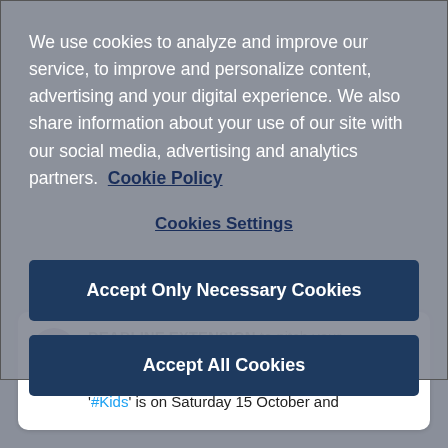We use cookies to analyze and improve our service, to improve and personalize content, advertising and your digital experience. We also share information about your use of our site with our social media, advertising and analytics partners.  Cookie Policy
Cookies Settings
Accept Only Necessary Cookies
Accept All Cookies
DEADLINE EXTENSION to pitch your #MIPJUNIOR project in front of our KIDS/T(W)EENS expert jury: #Project #Pitch '#Kids' is on Saturday 15 October and